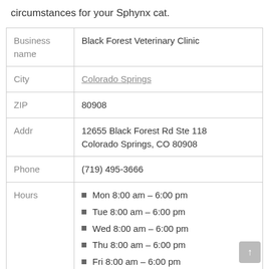circumstances for your Sphynx cat.
|  |  |
| --- | --- |
| Business name | Black Forest Veterinary Clinic |
| City | Colorado Springs |
| ZIP | 80908 |
| Addr | 12655 Black Forest Rd Ste 118 Colorado Springs, CO 80908 |
| Phone | (719) 495-3666 |
| Hours | Mon 8:00 am – 6:00 pm
Tue 8:00 am – 6:00 pm
Wed 8:00 am – 6:00 pm
Thu 8:00 am – 6:00 pm
Fri 8:00 am – 6:00 pm
Sat 8:00 am – 2:00 pm |